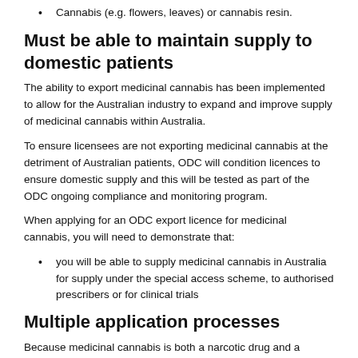Cannabis (e.g. flowers, leaves) or cannabis resin.
Must be able to maintain supply to domestic patients
The ability to export medicinal cannabis has been implemented to allow for the Australian industry to expand and improve supply of medicinal cannabis within Australia.
To ensure licensees are not exporting medicinal cannabis at the detriment of Australian patients, ODC will condition licences to ensure domestic supply and this will be tested as part of the ODC ongoing compliance and monitoring program.
When applying for an ODC export licence for medicinal cannabis, you will need to demonstrate that:
you will be able to supply medicinal cannabis in Australia for supply under the special access scheme, to authorised prescribers or for clinical trials
Multiple application processes
Because medicinal cannabis is both a narcotic drug and a therapeutic good